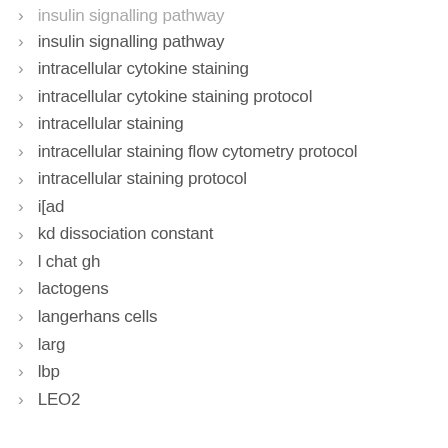insulin signalling pathway
intracellular cytokine staining
intracellular cytokine staining protocol
intracellular staining
intracellular staining flow cytometry protocol
intracellular staining protocol
i[ad
kd dissociation constant
l chat gh
lactogens
langerhans cells
larg
lbp
LEO2